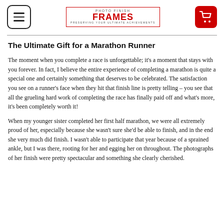PHOTO FINISH FRAMES — PRESERVING YOUR ULTIMATE ACHIEVEMENTS
The Ultimate Gift for a Marathon Runner
The moment when you complete a race is unforgettable; it's a moment that stays with you forever. In fact, I believe the entire experience of completing a marathon is quite a special one and certainly something that deserves to be celebrated. The satisfaction you see on a runner's face when they hit that finish line is pretty telling – you see that all the grueling hard work of completing the race has finally paid off and what's more, it's been completely worth it!
When my younger sister completed her first half marathon, we were all extremely proud of her, especially because she wasn't sure she'd be able to finish, and in the end she very much did finish. I wasn't able to participate that year because of a sprained ankle, but I was there, rooting for her and egging her on throughout. The photographs of her finish were pretty spectacular and something she clearly cherished.